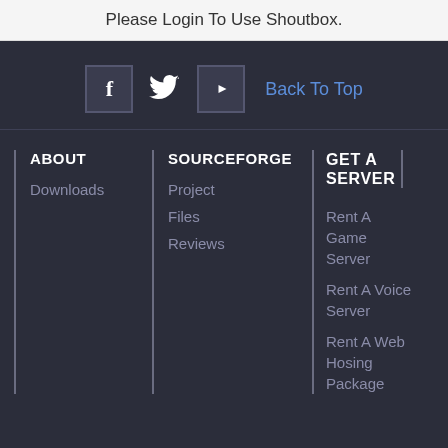Please Login To Use Shoutbox.
[Figure (other): Social media icons bar with Facebook, Twitter, YouTube icons and Back To Top link on dark background]
ABOUT
Downloads
SOURCEFORGE
Project
Files
Reviews
GET A SERVER
Rent A Game Server
Rent A Voice Server
Rent A Web Hosing Package